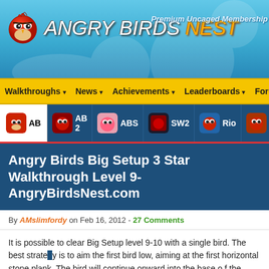Angry Birds Nest - Premium Uncaged Membership
Walkthroughs | News | Achievements | Leaderboards | Forums
AB | AB 2 | ABS | SW2 | Rio | Web
Angry Birds Big Setup 3 Star Walkthrough Level 9-10 AngryBirdsNest.com
By AMslimfordy on Feb 16, 2012 - 27 Comments
It is possible to clear Big Setup level 9-10 with a single bird. The best strategy is to aim the first bird low, aiming at the first horizontal stone plank. The bird will continue onward into the base of the structure, causing it to topple to the right. The score in the video below is 79,900.
[Figure (screenshot): Video thumbnail showing Angry Birds Big Setup 9-10 Walkthrough 3 Star]